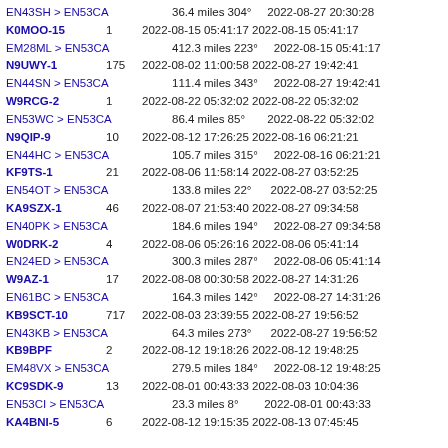| Call/Path | Count | First Heard | Last Heard |
| --- | --- | --- | --- |
| EN43SH > EN53CA |  | 36.4 miles 304° | 2022-08-27 20:30:28 |
| K0MOO-15 | 1 | 2022-08-15 05:41:17 | 2022-08-15 05:41:17 |
| EM28ML > EN53CA |  | 412.3 miles 223° | 2022-08-15 05:41:17 |
| N9UWY-1 | 175 | 2022-08-02 11:00:58 | 2022-08-27 19:42:41 |
| EN44SN > EN53CA |  | 111.4 miles 343° | 2022-08-27 19:42:41 |
| W9RCG-2 | 1 | 2022-08-22 05:32:02 | 2022-08-22 05:32:02 |
| EN53WC > EN53CA |  | 86.4 miles 85° | 2022-08-22 05:32:02 |
| N9QIP-9 | 10 | 2022-08-12 17:26:25 | 2022-08-16 06:21:21 |
| EN44HC > EN53CA |  | 105.7 miles 315° | 2022-08-16 06:21:21 |
| KF9TS-1 | 21 | 2022-08-06 11:58:14 | 2022-08-27 03:52:25 |
| EN54OT > EN53CA |  | 133.8 miles 22° | 2022-08-27 03:52:25 |
| KA9SZX-1 | 46 | 2022-08-07 21:53:40 | 2022-08-27 09:34:58 |
| EN40PK > EN53CA |  | 184.6 miles 194° | 2022-08-27 09:34:58 |
| W0DRK-2 | 4 | 2022-08-06 05:26:16 | 2022-08-06 05:41:14 |
| EN24ED > EN53CA |  | 300.3 miles 287° | 2022-08-06 05:41:14 |
| W9AZ-1 | 17 | 2022-08-08 00:30:58 | 2022-08-27 14:31:26 |
| EN61BC > EN53CA |  | 164.3 miles 142° | 2022-08-27 14:31:26 |
| KB9SCT-10 | 717 | 2022-08-03 23:39:55 | 2022-08-27 19:56:52 |
| EN43KB > EN53CA |  | 64.3 miles 273° | 2022-08-27 19:56:52 |
| KB9BPF | 2 | 2022-08-12 19:18:26 | 2022-08-12 19:48:25 |
| EM48VX > EN53CA |  | 279.5 miles 184° | 2022-08-12 19:48:25 |
| KC9SDK-9 | 13 | 2022-08-01 00:43:33 | 2022-08-03 10:04:36 |
| EN53CI > EN53CA |  | 23.3 miles 8° | 2022-08-01 00:43:33 |
| KA4BNI-5 | 6 | 2022-08-12 19:15:35 | 2022-08-13 07:45:45 |